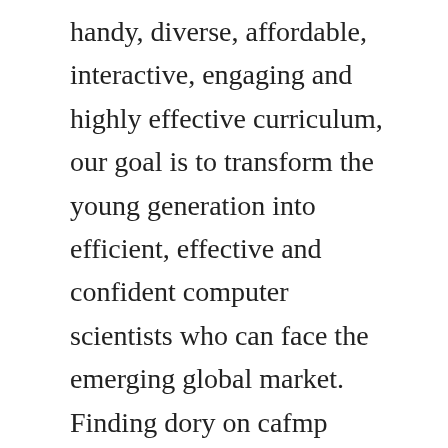handy, diverse, affordable, interactive, engaging and highly effective curriculum, our goal is to transform the young generation into efficient, effective and confident computer scientists who can face the emerging global market. Finding dory on cafmp central archive for movie posters with the stars on it. Download finding dory 2016 hindienglish 480p 300mb. Finding dory torrent hd download finding dory torrent, you are in the right place to watch online and download finding dory yts movies at your mobile or laptop in excellent 720p, 1080p and 4k